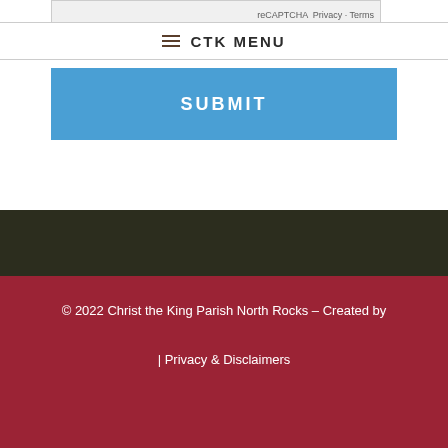CTK MENU
SUBMIT
© 2022 Christ the King Parish North Rocks – Created by | Privacy & Disclaimers